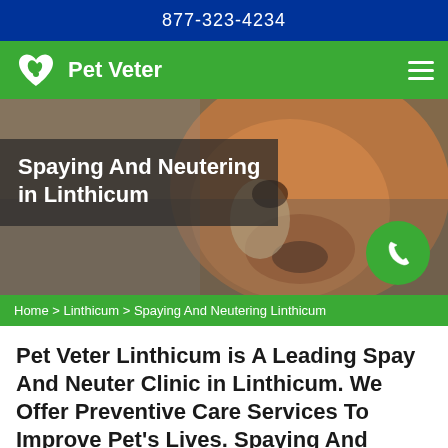877-323-4234
Pet Veter
[Figure (photo): Close-up photo of a brown and white dog lying down, used as hero banner image for spay and neuter clinic page]
Spaying And Neutering in Linthicum
Home > Linthicum > Spaying And Neutering Linthicum
Pet Veter Linthicum is A Leading Spay And Neuter Clinic in Linthicum. We Offer Preventive Care Services To Improve Pet's Lives. Spaying And...